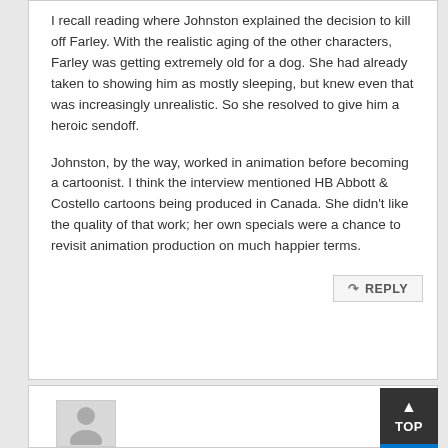I recall reading where Johnston explained the decision to kill off Farley. With the realistic aging of the other characters, Farley was getting extremely old for a dog. She had already taken to showing him as mostly sleeping, but knew even that was increasingly unrealistic. So she resolved to give him a heroic sendoff.

Johnston, by the way, worked in animation before becoming a cartoonist. I think the interview mentioned HB Abbott & Costello cartoons being produced in Canada. She didn't like the quality of that work; her own specials were a chance to revisit animation production on much happier terms.
REPLY
[Figure (illustration): Generic user avatar placeholder — gray silhouette of a person on light gray background]
TOP